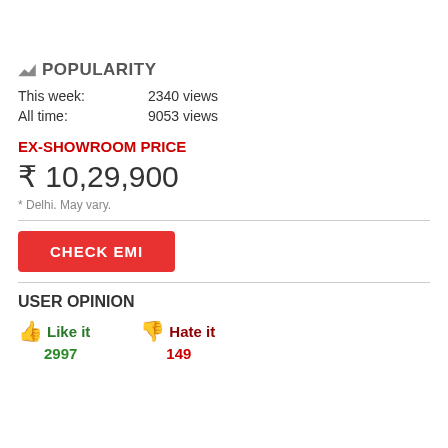POPULARITY
This week: 2340 views
All time: 9053 views
EX-SHOWROOM PRICE
₹ 10,29,900
* Delhi. May vary.
CHECK EMI
USER OPINION
Like it 2997
Hate it 149